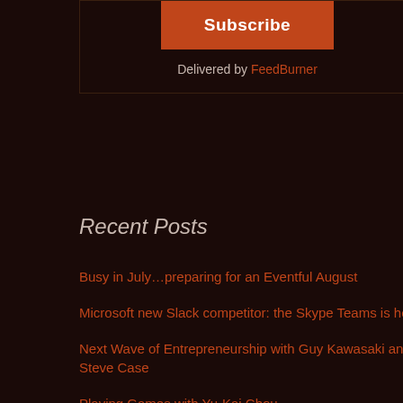[Figure (other): Subscribe button widget with orange background and text 'Subscribe']
Delivered by FeedBurner
Recent Posts
Busy in July…preparing for an Eventful August
Microsoft new Slack competitor: the Skype Teams is here
Next Wave of Entrepreneurship with Guy Kawasaki and Steve Case
Playing Games with Yu-Kai Chou
MongoDB or Mysql? NoSQL or